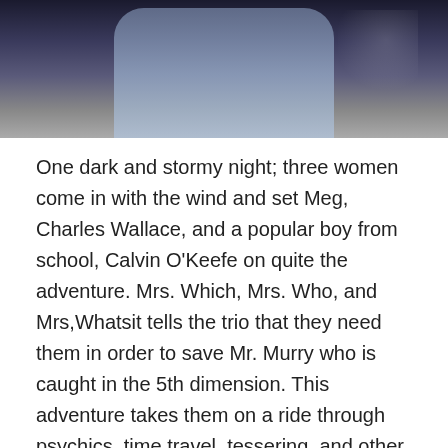[Figure (photo): Dark photo of people, partially visible at top of page]
One dark and stormy night; three women come in with the wind and set Meg, Charles Wallace, and a popular boy from school, Calvin O'Keefe on quite the adventure. Mrs. Which, Mrs. Who, and Mrs,Whatsit tells the trio that they need them in order to save Mr. Murry who is caught in the 5th dimension. This adventure takes them on a ride through psychics, time travel, tessering, and other planets.
This book was also turned into a film that was pretty good and had the cute guy from Everwood playing Calvin O'Keefe.
A Wind in the Door– This is a sequel to A Wrinkle in Time. Calvin and Meg are friends and romantically